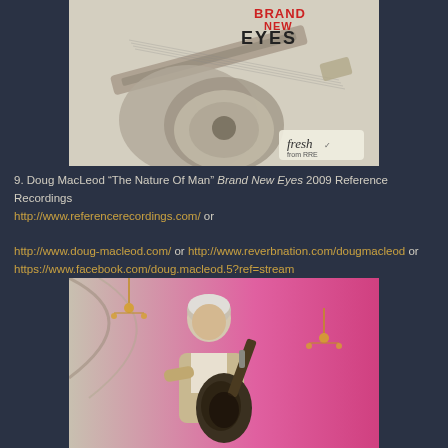[Figure (photo): Album cover for 'Brand New Eyes' by Doug MacLeod, showing a sketch of a musician playing guitar with 'Brand New Eyes' text and 'fresh from RRE' logo]
9. Doug MacLeod "The Nature Of Man" Brand New Eyes 2009 Reference Recordings http://www.referencerecordings.com/ or http://www.doug-macleod.com/ or http://www.reverbnation.com/dougmacleod or https://www.facebook.com/doug.macleod.5?ref=stream
[Figure (photo): Photo of Doug MacLeod playing acoustic guitar in an ornate venue with pink lighting and chandeliers]